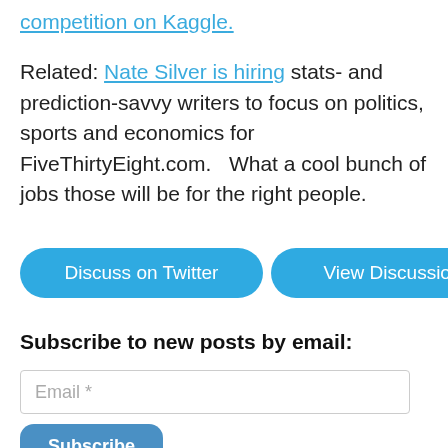competition on Kaggle.
Related: Nate Silver is hiring stats- and prediction-savvy writers to focus on politics, sports and economics for FiveThirtyEight.com.   What a cool bunch of jobs those will be for the right people.
[Figure (other): Two blue rounded buttons side by side: 'Discuss on Twitter' and 'View Discussion']
Subscribe to new posts by email:
[Figure (other): Email input field with placeholder 'Email *']
[Figure (other): Subscribe button]